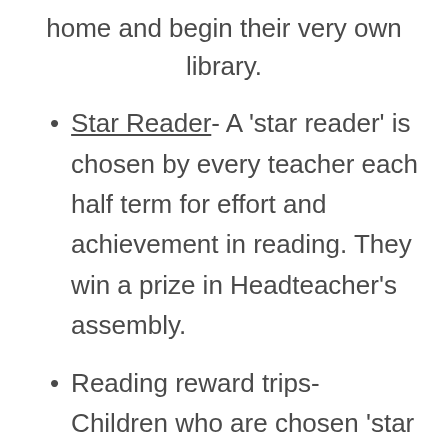home and begin their very own library.
Star Reader- A 'star reader' is chosen by every teacher each half term for effort and achievement in reading. They win a prize in Headteacher's assembly.
Reading reward trips- Children who are chosen 'star reader' are